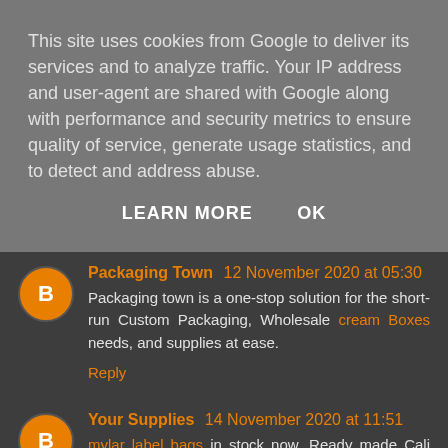This site uses cookies from Google to deliver its services and to analyze traffic. Your IP address and user-agent are shared with Google along with performance and security metrics to ensure quality of service, generate usage statistics, and to detect and address abuse.
LEARN MORE   OK
Packaging Town 12 November 2020 at 05:30
Packaging town is a one-stop solution for the short-run Custom Packaging, Wholesale cream Boxes needs, and supplies at ease.
Reply
Your Supplies 14 November 2020 at 11:51
mylar label bags in stock now. Ready made Cali pack designs. Fast Shipping at Your Supplies. Custom designs available